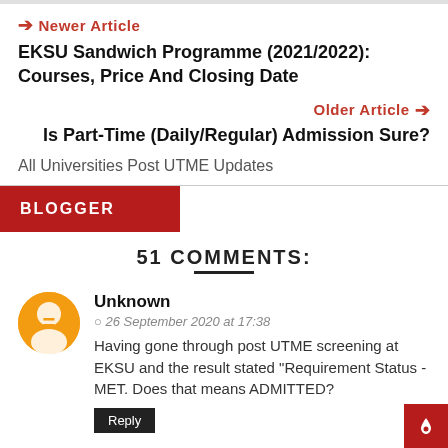Newer Article
EKSU Sandwich Programme (2021/2022): Courses, Price And Closing Date
Older Article
Is Part-Time (Daily/Regular) Admission Sure?
All Universities Post UTME Updates
BLOGGER
51 COMMENTS:
Unknown
26 September 2020 at 17:38
Having gone through post UTME screening at EKSU and the result stated "Requirement Status -MET. Does that means ADMITTED?
Reply